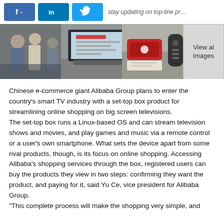[Figure (screenshot): Social media share buttons: Facebook (f -), LinkedIn (in), Twitter (bird icon), with text partially visible on the right]
[Figure (photo): Gallery strip with three photos: people at an event, a monitor/screen display, a red set-top box device, and a 'View all images' button on the right]
Chinese e-commerce giant Alibaba Group plans to enter the country's smart TV industry with a set-top box product for streamlining online shopping on big screen televisions.
The set-top box runs a Linux-based OS and can stream television shows and movies, and play games and music via a remote control or a user's own smartphone. What sets the device apart from some rival products, though, is its focus on online shopping. Accessing Alibaba's shopping services through the box, registered users can buy the products they view in two steps: confirming they want the product, and paying for it, said Yu Ce, vice president for Alibaba Group.
"This complete process will make the shopping very simple, and